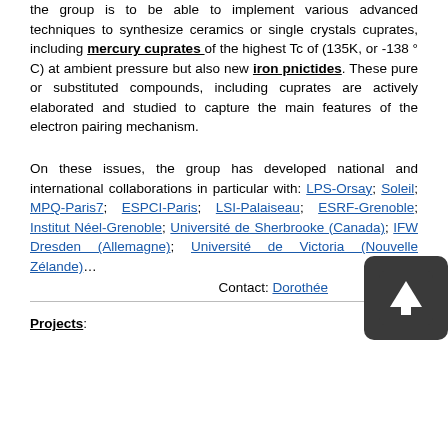the group is to be able to implement various advanced techniques to synthesize ceramics or single crystals cuprates, including mercury cuprates of the highest Tc of (135K, or -138 ° C) at ambient pressure but also new iron pnictides. These pure or substituted compounds, including cuprates are actively elaborated and studied to capture the main features of the electron pairing mechanism.
On these issues, the group has developed national and international collaborations in particular with: LPS-Orsay; Soleil; MPQ-Paris7; ESPCI-Paris; LSI-Palaiseau; ESRF-Grenoble; Institut Néel-Grenoble; Université de Sherbrooke (Canada); IFW Dresden (Allemagne); Université de Victoria (Nouvelle Zélande)…
Contact: Dorothée
Projects: